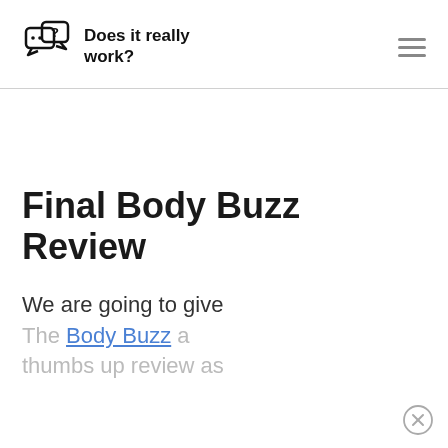Does it really work?
Final Body Buzz Review
We are going to give The Body Buzz a thumbs up review as